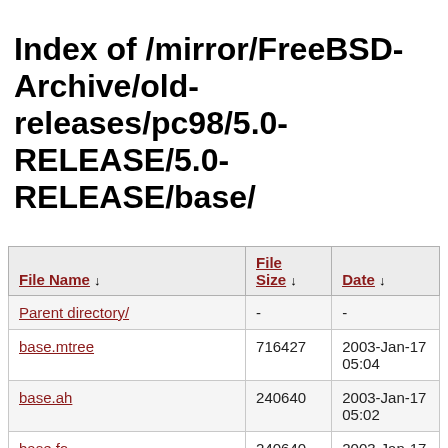Index of /mirror/FreeBSD-Archive/old-releases/pc98/5.0-RELEASE/5.0-RELEASE/base/
| File Name ↓ | File Size ↓ | Date ↓ |
| --- | --- | --- |
| Parent directory/ | - | - |
| base.mtree | 716427 | 2003-Jan-17 05:04 |
| base.ah | 240640 | 2003-Jan-17 05:02 |
| base.fo | 240640 | 2003-Jan-17 05:03 |
| base.fe | 240640 | 2003-Jan-17 05:03 |